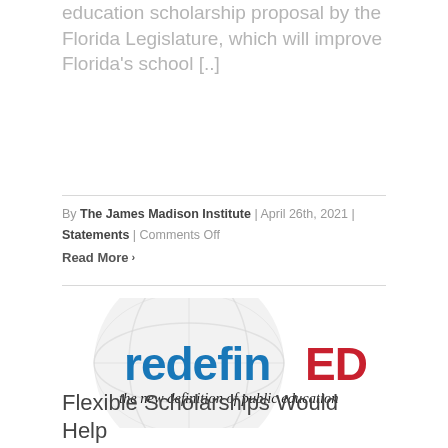education scholarship proposal by the Florida Legislature, which will improve Florida's school [..]
By The James Madison Institute | April 26th, 2021 | Statements | Comments Off
Read More ›
[Figure (logo): redefinED logo — the word 'redefin' in blue and 'ED' in red, with tagline 'the new definition of public education' in black italic, overlaid on a faint globe watermark]
Flexible Scholarships Would Help